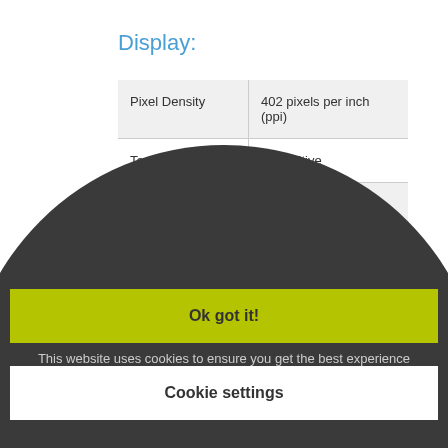Display:
| Pixel Density | 402 pixels per inch (ppi) |
| Touchscreen type | Capacitive |
| Screen to body percen… |  |
About cookies on this site
This website uses cookies to ensure you get the best experience on our website.
Learn more
Ok got it!
Cookie settings